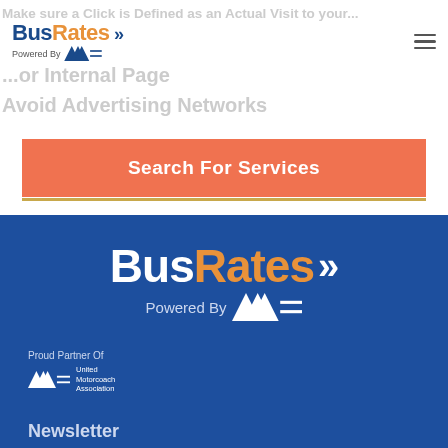[Figure (screenshot): BusRates website screenshot showing header with logo, navigation hamburger menu, Search For Services orange button, and blue footer with BusRates logo, Proud Partner Of UMA badge, and Newsletter section]
BusRates >> Powered By UMA
Search For Services
[Figure (logo): BusRates footer logo large - white 'Bus' and orange 'Rates' with double chevron arrows, 'Powered By UMA' text below]
Proud Partner Of
[Figure (logo): United Motorcoach Association (UMA) logo with mountain/road icon and stacked text]
Newsletter